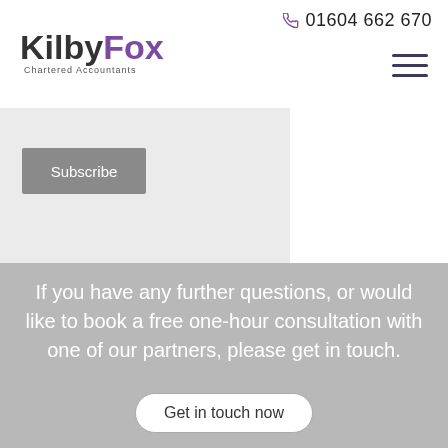[Figure (logo): KilbyFox Chartered Accountants logo with 'Kilby' in dark gray and 'Fox' in purple]
01604 662 670
Subscribe
If you have any further questions, or would like to book a free one-hour consultation with one of our partners, please get in touch.
Get in touch now